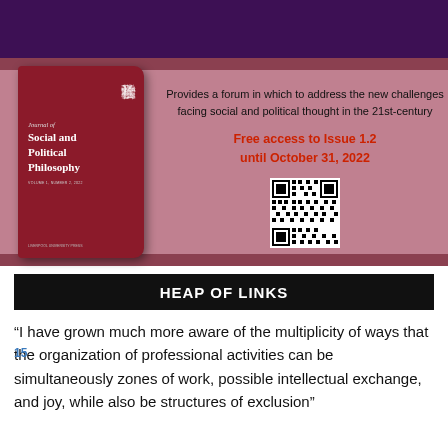[Figure (illustration): Journal of Social and Political Philosophy book cover (red/maroon) with Chinese characters, alongside promotional text: 'Provides a forum in which to address the new challenges facing social and political thought in the 21st-century. Free access to Issue 1.2 until October 31, 2022' and a QR code, all on a mauve/pink banner background with dark purple top stripe.]
HEAP OF LINKS
“I have grown much more aware of the multiplicity of ways that the organization of professional activities can be simultaneously zones of work, possible intellectual exchange, and joy, while also be structures of exclusion”